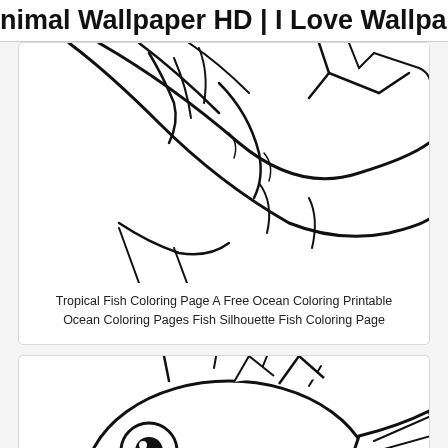nimal Wallpaper HD | I Love Wallpap
[Figure (illustration): Partial view of a tropical fish line drawing coloring page, showing body with fins and scales, cropped at top]
Tropical Fish Coloring Page A Free Ocean Coloring Printable Ocean Coloring Pages Fish Silhouette Fish Coloring Page
[Figure (illustration): Coloring page illustration of a puffer fish / blowfish with round body, large eye, spines, and fins, shown from the side]